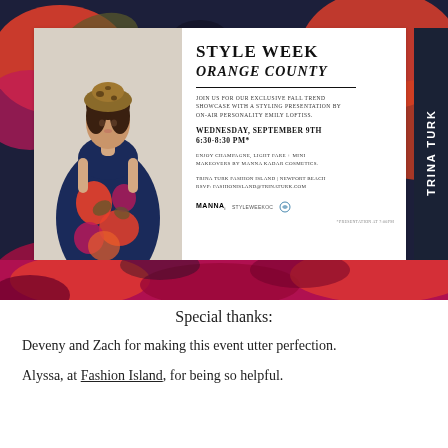[Figure (illustration): Style Week Orange County event invitation floral poster with a model in a floral dress and hat, event details, Trina Turk branding on right sidebar, and partner logos.]
Special thanks:
Deveny and Zach for making this event utter perfection.
Alyssa, at Fashion Island, for being so helpful.